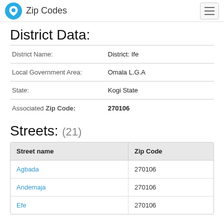Zip Codes
District Data:
|  |  |
| --- | --- |
| District Name: | District: Ife |
| Local Government Area: | Omala L.G.A |
| State: | Kogi State |
| Associated Zip Code: | 270106 |
Streets: (21)
| Street name | Zip Code |
| --- | --- |
| Agbada | 270106 |
| Andemaja | 270106 |
| Efe | 270106 |